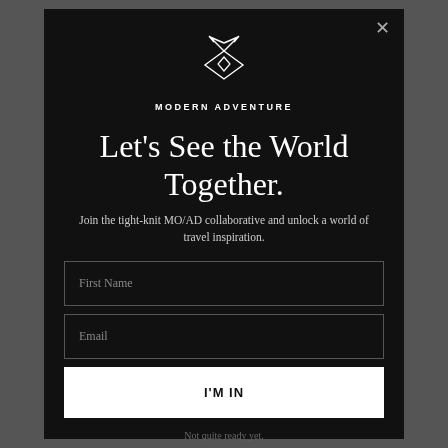[Figure (logo): Modern Adventure geometric logo mark — two crossed arrow/kite shapes in white outline]
MODERN ADVENTURE
Let's See the World Together.
Join the tight-knit MO/AD collaborative and unlock a world of travel inspiration.
First Name
Email
I'M IN
Not quite ready yet.